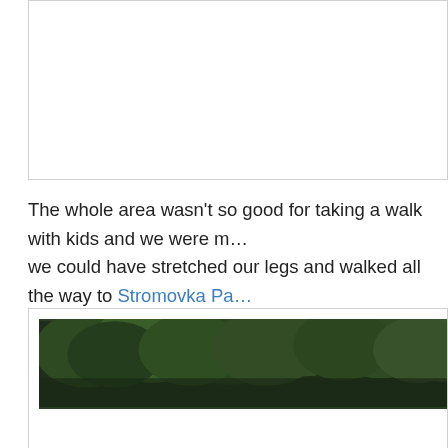[Figure (photo): Top image box, partially visible photo (cropped), white background with border]
The whole area wasn't so good for taking a walk with kids and we were m... we could have stretched our legs and walked all the way to Stromovka Pa... would take us a good 20 minutes just to make it to the entrance of the par...
[Figure (photo): Bottom image box with a photo strip showing dense green tree canopy]